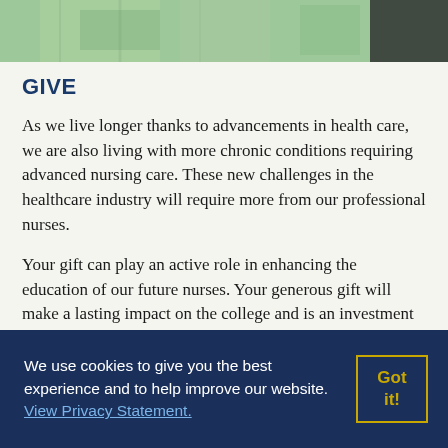[Figure (photo): Partial photo of a person in a green plaid/checkered garment, likely a patient in a hospital bed]
GIVE
As we live longer thanks to advancements in health care, we are also living with more chronic conditions requiring advanced nursing care. These new challenges in the healthcare industry will require more from our professional nurses.
Your gift can play an active role in enhancing the education of our future nurses. Your generous gift will make a lasting impact on the college and is an investment to future generations of nurses and to
We use cookies to give you the best experience and to help improve our website. View Privacy Statement.